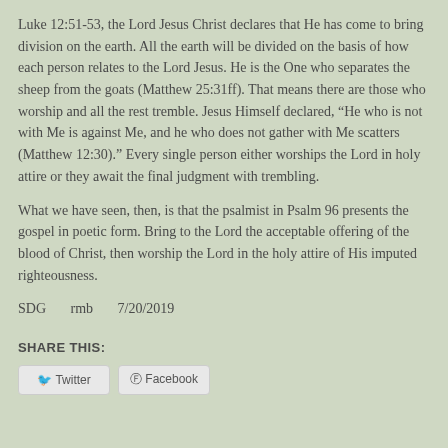Luke 12:51-53, the Lord Jesus Christ declares that He has come to bring division on the earth. All the earth will be divided on the basis of how each person relates to the Lord Jesus. He is the One who separates the sheep from the goats (Matthew 25:31ff). That means there are those who worship and all the rest tremble. Jesus Himself declared, “He who is not with Me is against Me, and he who does not gather with Me scatters (Matthew 12:30).” Every single person either worships the Lord in holy attire or they await the final judgment with trembling.
What we have seen, then, is that the psalmist in Psalm 96 presents the gospel in poetic form. Bring to the Lord the acceptable offering of the blood of Christ, then worship the Lord in the holy attire of His imputed righteousness.
SDG      rmb      7/20/2019
SHARE THIS: